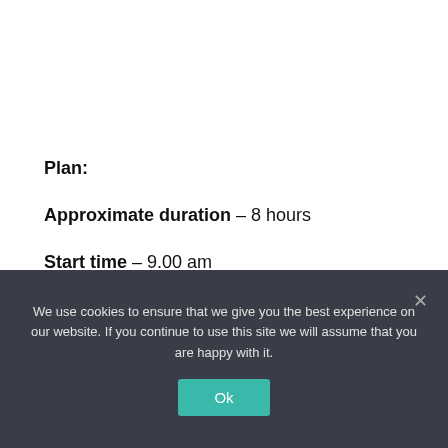Plan:
Approximate duration – 8 hours
Start time – 9.00 am
Meet point – Your hotel reception
We use cookies to ensure that we give you the best experience on our website. If you continue to use this site we will assume that you are happy with it.
Ok